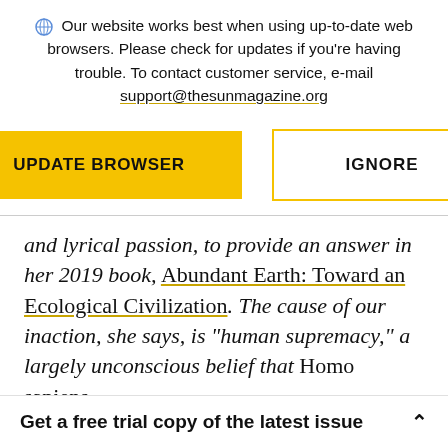Our website works best when using up-to-date web browsers. Please check for updates if you're having trouble. To contact customer service, e-mail support@thesunmagazine.org
[Figure (screenshot): Two buttons: a yellow filled button labeled UPDATE BROWSER and a yellow-outlined button labeled IGNORE]
and lyrical passion, to provide an answer in her 2019 book, Abundant Earth: Toward an Ecological Civilization. The cause of our inaction, she says, is “human supremacy,” a largely unconscious belief that Homo sapiens
Get a free trial copy of the latest issue